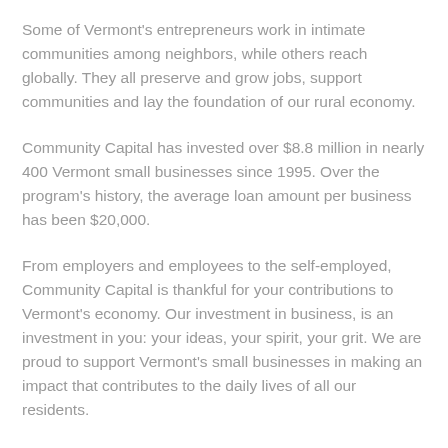Some of Vermont's entrepreneurs work in intimate communities among neighbors, while others reach globally. They all preserve and grow jobs, support communities and lay the foundation of our rural economy.
Community Capital has invested over $8.8 million in nearly 400 Vermont small businesses since 1995. Over the program's history, the average loan amount per business has been $20,000.
From employers and employees to the self-employed, Community Capital is thankful for your contributions to Vermont's economy. Our investment in business, is an investment in you: your ideas, your spirit, your grit. We are proud to support Vermont's small businesses in making an impact that contributes to the daily lives of all our residents.